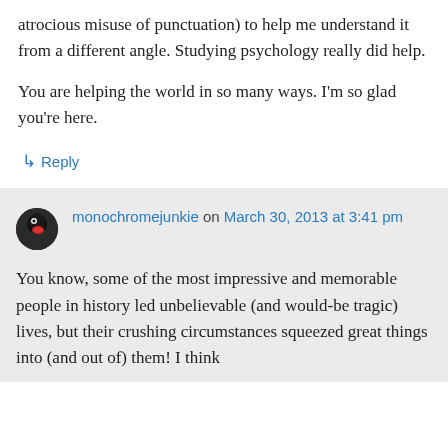atrocious misuse of punctuation) to help me understand it from a different angle. Studying psychology really did help.
You are helping the world in so many ways. I'm so glad you're here.
↳ Reply
monochromejunkie on March 30, 2013 at 3:41 pm
You know, some of the most impressive and memorable people in history led unbelievable (and would-be tragic) lives, but their crushing circumstances squeezed great things into (and out of) them! I think